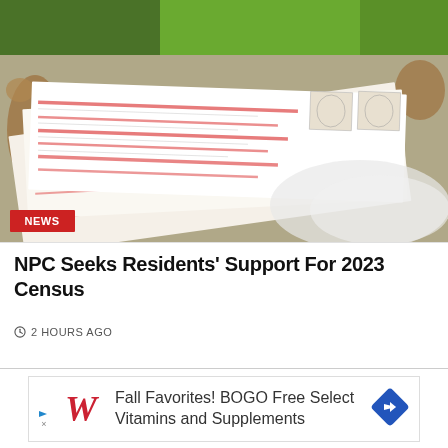[Figure (photo): A close-up photograph of census forms/ballots being held, with red-lined paper forms stacked together. A green vehicle is partially visible in the background. A red 'NEWS' badge is overlaid at the bottom-left of the image.]
NPC Seeks Residents' Support For 2023 Census
2 HOURS AGO
[Figure (advertisement): Walgreens advertisement: 'Fall Favorites! BOGO Free Select Vitamins and Supplements' with Walgreens cursive W logo and a blue diamond arrow icon.]